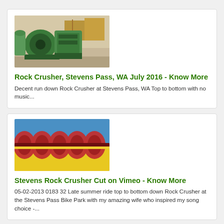[Figure (photo): Industrial rock crusher machinery in a warehouse setting with green equipment]
Rock Crusher, Stevens Pass, WA July 2016 - Know More
Decent run down Rock Crusher at Stevens Pass, WA Top to bottom with no music...
[Figure (photo): Close-up of red/rust colored spiral screw conveyor or auger components with yellow trough]
Stevens Rock Crusher Cut on Vimeo - Know More
05-02-2013 0183 32 Late summer ride top to bottom down Rock Crusher at the Stevens Pass Bike Park with my amazing wife who inspired my song choice -...